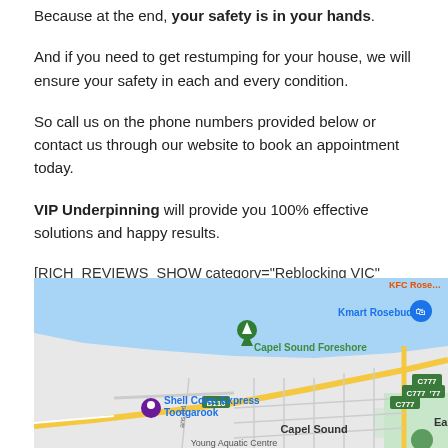Because at the end, your safety is in your hands.
And if you need to get restumping for your house, we will ensure your safety in each and every condition.
So call us on the phone numbers provided below or contact us through our website to book an appointment today.
VIP Underpinning will provide you 100% effective solutions and happy results.
[RICH_REVIEWS_SHOW category="Reblocking VIC" num="6"]
[Figure (map): Google Maps screenshot showing Capel Sound area near Rosebud, Victoria, Australia. Shows water (bay) in the upper portion, Capel Sound Foreshore with a green camping/park marker, Kmart Rosebud label with blue shopping bag icon, Shell Coles Express Tootgarook with purple pin marker, road B110 badge, road C777 badge, and Eastbourne label partially visible on right edge.]